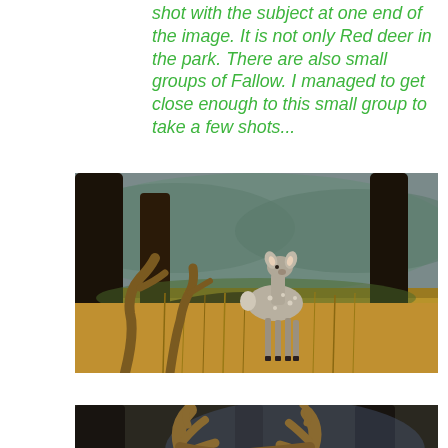shot with the subject at one end of the image. It is not only Red deer in the park. There are also small groups of Fallow. I managed to get close enough to this small group to take a few shots...
[Figure (photo): A young fallow deer standing in tall golden grass in a woodland setting, with dark tree trunks and green hills in the background. In the foreground, the antlers of another deer are partially visible.]
[Figure (photo): Close-up of large deer antlers in a dark woodland setting, photographed from below against blurred background trees.]